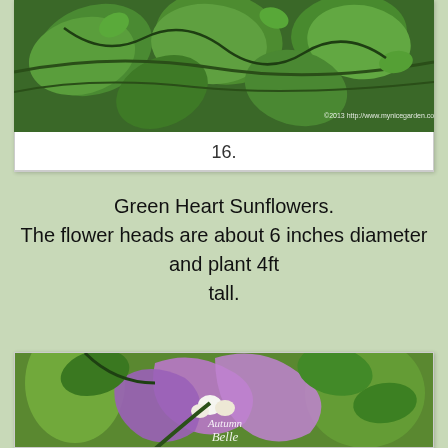[Figure (photo): Close-up photo of green heart-shaped leaves on a vine, with watermark '©2013 http://www.mynicegarden.com' in bottom right corner]
16.
Green Heart Sunflowers.
The flower heads are about 6 inches diameter and plant 4ft tall.
[Figure (photo): Close-up photo of purple bougainvillea bracts with small white flowers, green leaves visible, watermark 'Autumn Belle' in lower center]